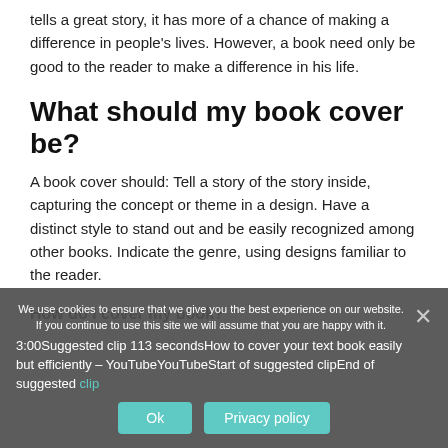tells a great story, it has more of a chance of making a difference in people's lives. However, a book need only be good to the reader to make a difference in his life.
What should my book cover be?
A book cover should: Tell a story of the story inside, capturing the concept or theme in a design. Have a distinct style to stand out and be easily recognized among other books. Indicate the genre, using designs familiar to the reader.
How do I cover my book?
3:00Suggested clip 113 secondsHow to cover your text book easily but efficiently – YouTubeYouTubeStart of suggested clipEnd of suggested clip
We use cookies to ensure that we give you the best experience on our website. If you continue to use this site we will assume that you are happy with it.